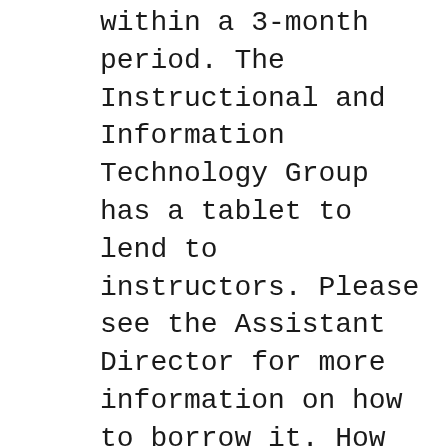within a 3-month period. The Instructional and Information Technology Group has a tablet to lend to instructors. Please see the Assistant Director for more information on how to borrow it. How do I set up a Samsung Galaxy? Official Samsung Galaxy Tab 3 . User Manual: Instructions begin on page 9.
Feb 09, 2020В В· Samsung Tablet reviews, ratings, and prices at CNET. Samsung Galaxy Tab 3 7-inch Samsung has added a budget-priced, small-sized tablet to вЂ¦ Aug 19, 2019В В· Rewards accrue on every purchase made on Dell.com. 6% rewards only available on Dell Preferred Account purchases. 3%